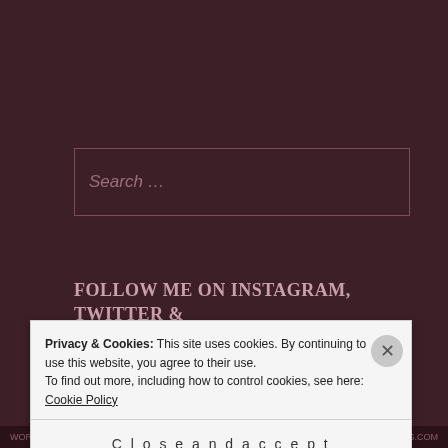Search ...
FOLLOW ME ON INSTAGRAM, TWITTER & FACEBOOK
Chefkreso Instagram
Privacy & Cookies: This site uses cookies. By continuing to use this website, you agree to their use.
To find out more, including how to control cookies, see here: Cookie Policy
Close and accept